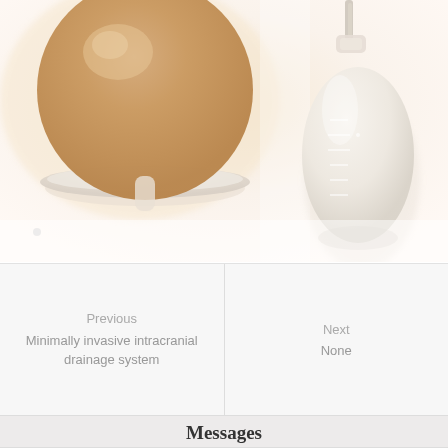[Figure (photo): Medical product photos: left side shows a round cream/beige bowl or sphere-shaped object; right side shows a medical drainage bottle/bulb device with measurement markings, on a warm cream gradient background.]
Previous
Minimally invasive intracranial drainage system
Next
None
Messages